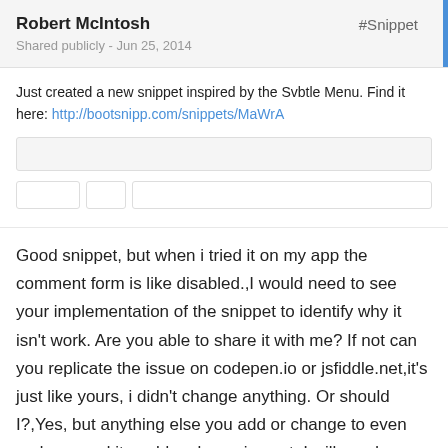Robert McIntosh
Shared publicly - Jun 25, 2014
#Snippet
Just created a new snippet inspired by the Svbtle Menu. Find it here: http://bootsnipp.com/snippets/MaWrA
[Figure (screenshot): A preview bar and button row representing a snippet UI preview with gray placeholder elements]
Good snippet, but when i tried it on my app the comment form is like disabled.,I would need to see your implementation of the snippet to identify why it isn't work. Are you able to share it with me? If not can you replicate the issue on codepen.io or jsfiddle.net,it's just like yours, i didn't change anything. Or should I?,Yes, but anything else you add or change to even code around it could make an impact. I will need more information to be able to assist you. It is hard to debug this without it.,http://codepen.io/Jessmoi/p...,Thankyou,this